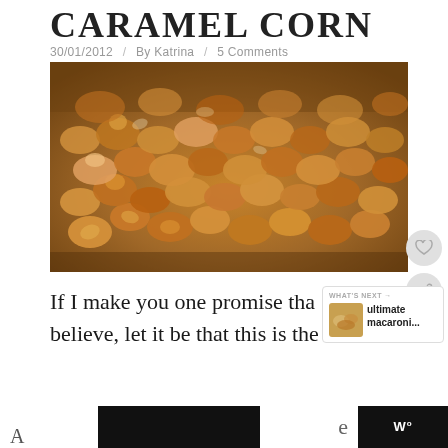CARAMEL CORN
30/01/2012 / By Katrina / 5 Comments
[Figure (photo): Close-up photo of caramel-coated popcorn, showing golden-brown glazed kernels clustered together.]
If I make you one promise that believe, let it be that this is the best and
WHAT'S NEXT → ultimate macaroni...